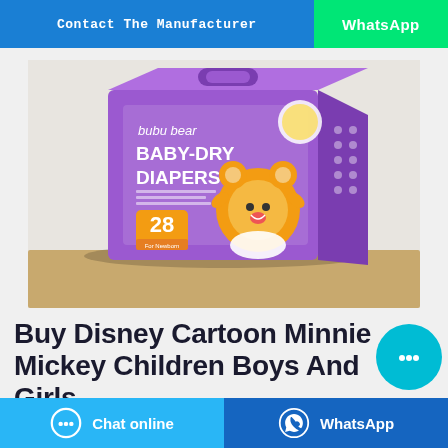Contact The Manufacturer | WhatsApp
[Figure (photo): bubu bear BABY-DRY DIAPERS product box with cartoon bear character, 28 count, purple packaging]
Buy Disney Cartoon Minnie Mickey Children Boys And Girls ...
Chat online | WhatsApp